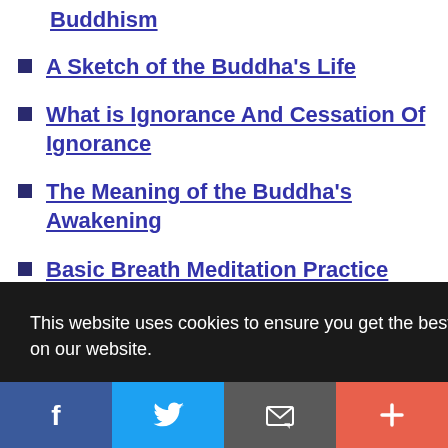Buddhism
A Sketch of the Buddha's Life
What is Ignorance And Cessation Of Ignorance
The Meaning of the Buddha's Awakening
Basic Breath Meditation Practice
Buddha's Teachings on Kamma or Karma
This website uses cookies to ensure you get the best experience on our website.
Got it!